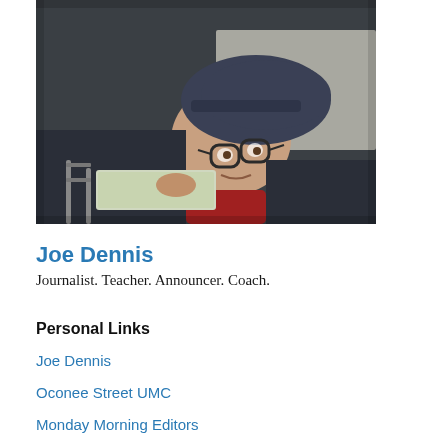[Figure (photo): A man wearing glasses and a dark cap leaning over something, looking at the camera with a slight smile. He is wearing a dark jacket and a red shirt. The photo is taken from above at an angle.]
Joe Dennis
Journalist. Teacher. Announcer. Coach.
Personal Links
Joe Dennis
Oconee Street UMC
Monday Morning Editors